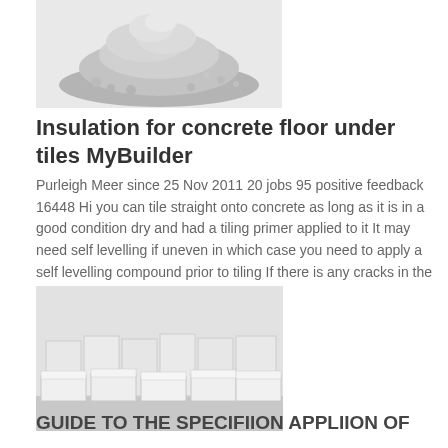[Figure (photo): Pile of grey cement or concrete powder on a white background]
Insulation for concrete floor under tiles MyBuilder
Purleigh Meer since 25 Nov 2011 20 jobs 95 positive feedback 16448 Hi you can tile straight onto concrete as long as it is in a good condition dry and had a tiling primer applied to it It may need self levelling if uneven in which case you need to apply a self levelling compound prior to tiling If there is any cracks in the
[Figure (photo): Stacks of white rectangular insulation blocks or foam panels arranged in a warehouse or showroom]
GUIDE TO THE SPECIFIION APPLIION OF